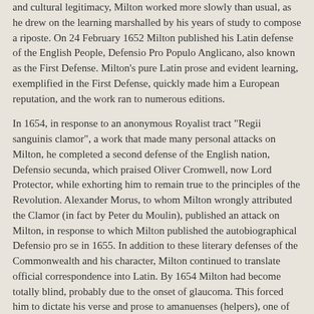and cultural legitimacy, Milton worked more slowly than usual, as he drew on the learning marshalled by his years of study to compose a riposte. On 24 February 1652 Milton published his Latin defense of the English People, Defensio Pro Populo Anglicano, also known as the First Defense. Milton's pure Latin prose and evident learning, exemplified in the First Defense, quickly made him a European reputation, and the work ran to numerous editions.
In 1654, in response to an anonymous Royalist tract "Regii sanguinis clamor", a work that made many personal attacks on Milton, he completed a second defense of the English nation, Defensio secunda, which praised Oliver Cromwell, now Lord Protector, while exhorting him to remain true to the principles of the Revolution. Alexander Morus, to whom Milton wrongly attributed the Clamor (in fact by Peter du Moulin), published an attack on Milton, in response to which Milton published the autobiographical Defensio pro se in 1655. In addition to these literary defenses of the Commonwealth and his character, Milton continued to translate official correspondence into Latin. By 1654 Milton had become totally blind, probably due to the onset of glaucoma. This forced him to dictate his verse and prose to amanuenses (helpers), one of whom was the poet Andrew Marvell. One of his best-known sonnets, On His Blindness, is presumed to date from this period.
Family
Milton and Mary Powell (1625–1652) had four children:
Anne (born 7 July 1646)
Mary (born 25 October 1648)
John (16 March 1651 – June 1652)